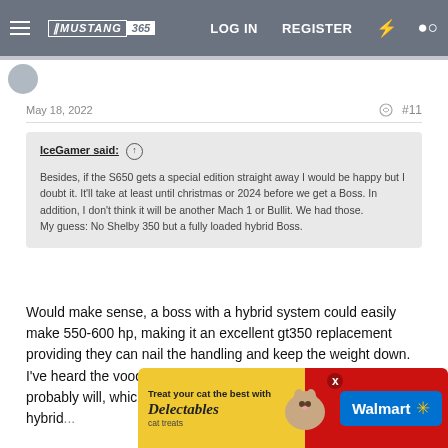MUSTANG365 | LOG IN | REGISTER
May 18, 2022  #11
IceGamer said: ↑

Besides, if the S650 gets a special edition straight away I would be happy but I doubt it. It'll take at least until christmas or 2024 before we get a Boss. In addition, I don't think it will be another Mach 1 or Bullit. We had those.
My guess: No Shelby 350 but a fully loaded hybrid Boss.
Would make sense, a boss with a hybrid system could easily make 550-600 hp, making it an excellent gt350 replacement providing they can nail the handling and keep the weight down. I've heard the voodoo won't be making a return, but the predator probably will, which is interesting. Imagin... hybrid... ome
[Figure (screenshot): Walmart advertisement overlay: 'Treat your cat the best with Delectables cat treats' with a cat photo and Walmart logo]